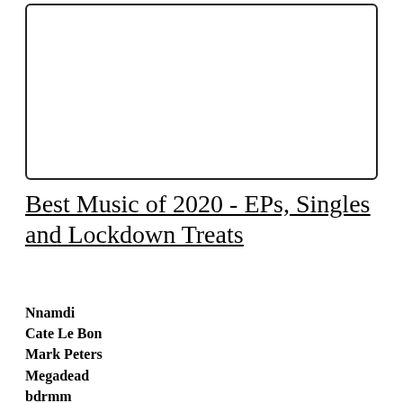[Figure (other): Empty white box with rounded border, likely an image placeholder]
Best Music of 2020 - EPs, Singles and Lockdown Treats
Nnamdi
Cate Le Bon
Mark Peters
Megadead
bdrmm
Islet
Angel Bat Dawid